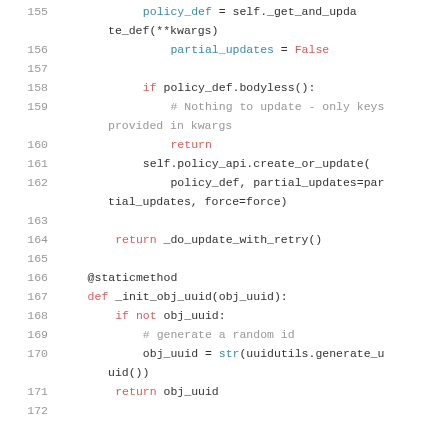[Figure (screenshot): Python source code lines 155-172 showing policy update and UUID initialization logic]